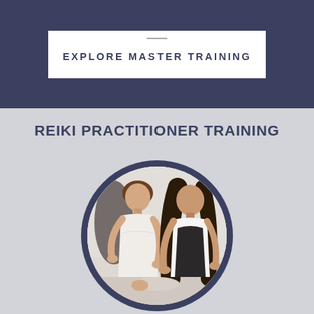EXPLORE MASTER TRAINING
REIKI PRACTITIONER TRAINING
[Figure (photo): Two women in a reiki training session, one dressed in white and one in a dark apron/white shirt, viewed inside a circular frame with dark navy border on a light gray background]